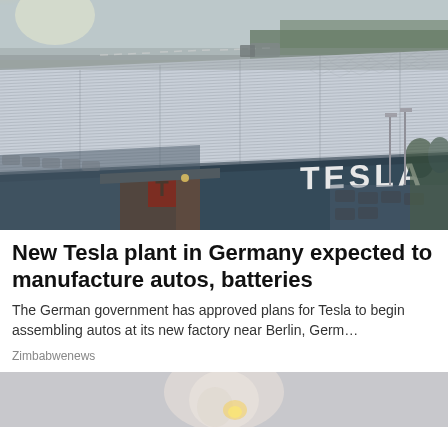[Figure (photo): Aerial view of Tesla Gigafactory near Berlin, Germany. Large industrial building with metal roof panels and solar elements, Tesla logo visible on the dark grey facade, red Tesla T sign at entrance, parking area with cars visible, trees and highway in background.]
New Tesla plant in Germany expected to manufacture autos, batteries
The German government has approved plans for Tesla to begin assembling autos at its new factory near Berlin, Germ…
Zimbabwenews
[Figure (photo): Partial view of another image at the bottom of the page, blurred/bright, appears to show a person or object.]